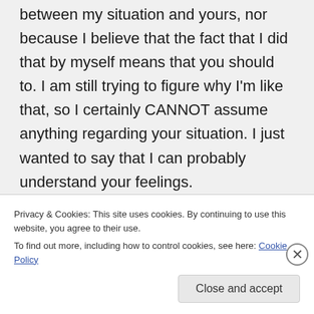between my situation and yours, nor because I believe that the fact that I did that by myself means that you should to. I am still trying to figure why I'm like that, so I certainly CANNOT assume anything regarding your situation. I just wanted to say that I can probably understand your feelings.

I think I went a bit deeper into that
Privacy & Cookies: This site uses cookies. By continuing to use this website, you agree to their use.
To find out more, including how to control cookies, see here: Cookie Policy
Close and accept